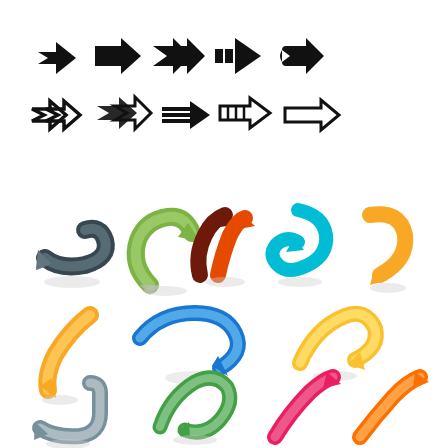[Figure (illustration): A collection of arrow icons and symbols on white background. Top two rows show flat black arrow symbols in various styles (chevron, solid, double, striped, outlined). Bottom half shows colorful 3D rendered arrows in various directions and styles including curved, spiral, and straight arrows in colors like blue, green, orange, red, teal, yellow, gray, pink.]